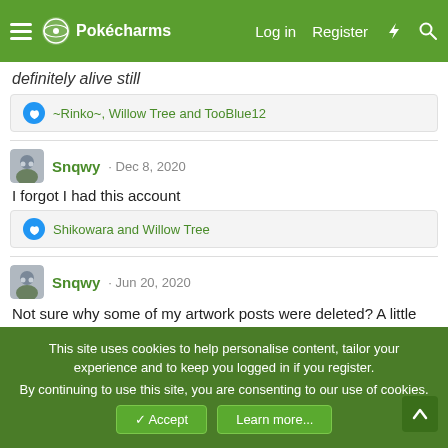Pokécharms — Log in | Register
definitely alive still
~Rinko~, Willow Tree and TooBlue12
Snqwy · Dec 8, 2020
I forgot I had this account
Shikowara and Willow Tree
Snqwy · Jun 20, 2020
Not sure why some of my artwork posts were deleted? A little annoying. . _.
This site uses cookies to help personalise content, tailor your experience and to keep you logged in if you register. By continuing to use this site, you are consenting to our use of cookies.
✓ Accept | Learn more...